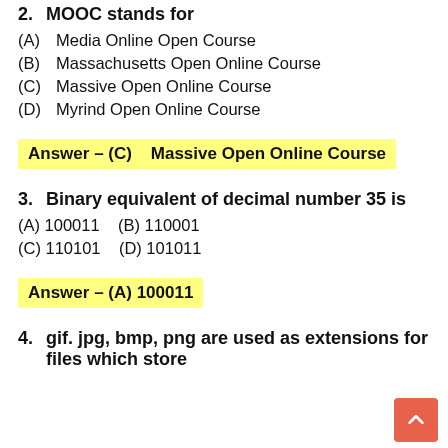2.   MOOC stands for
(A)   Media Online Open Course
(B)   Massachusetts Open Online Course
(C)   Massive Open Online Course
(D)   Myrind Open Online Course
Answer – (C)    Massive Open Online Course
3.   Binary equivalent of decimal number 35 is
(A) 100011    (B) 110001
(C) 110101    (D) 101011
Answer – (A) 100011
4.    gif. jpg, bmp, png are used as extensions for files which store